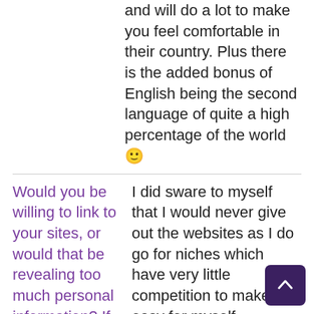and will do a lot to make you feel comfortable in their country. Plus there is the added bonus of English being the second language of quite a high percentage of the world 🙂
Would you be willing to link to your sites, or would that be revealing too much personal information? If you don't want to link to yours, could you link to similar ones?
I did sware to myself that I would never give out the websites as I do go for niches which have very little competition to make it easy for myself. Releasing the websites to anybody brings a possibility of somebody competing with me, making it more difficult. For that reason, i would rather not. But I can give an example. One website where the owner publicly gives out his income